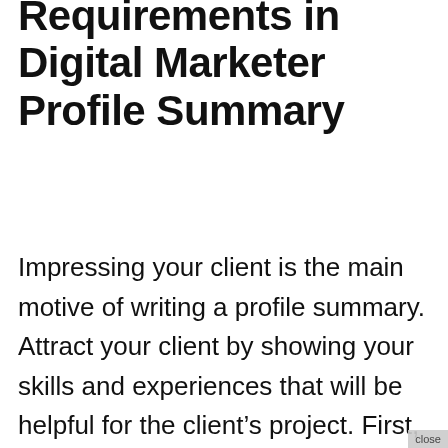Requirements in Digital Marketer Profile Summary
Impressing your client is the main motive of writing a profile summary. Attract your client by showing your skills and experiences that will be helpful for the client's project. First, you should understand your clients' needs and write the profile summary fulfilling all the requirements clients are seeking for.